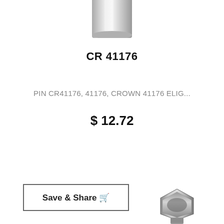[Figure (photo): Top portion of a metal pin/bolt part (CR 41176), metallic silver finish, partially cropped at top of page]
CR 41176
PIN CR41176, 41176, CROWN 41176 ELIG...
$ 12.72
Save & Share
[Figure (photo): Bottom portion of a metal hex bolt/plug part, metallic dark finish, partially visible at bottom of page]